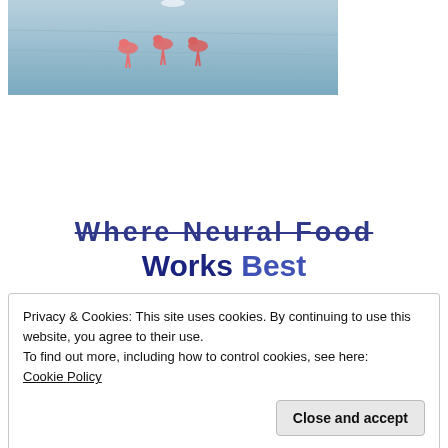[Figure (photo): Photo showing flamingos or pink birds in blue/grey water, cropped at top of page]
Where Neural Food Works Best
Privacy & Cookies: This site uses cookies. By continuing to use this website, you agree to their use.
To find out more, including how to control cookies, see here: Cookie Policy
Close and accept